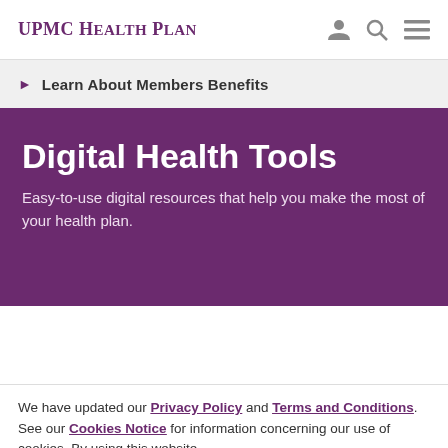UPMC HEALTH PLAN
Learn About Members Benefits
Digital Health Tools
Easy-to-use digital resources that help you make the most of your health plan.
We have updated our Privacy Policy and Terms and Conditions. See our Cookies Notice for information concerning our use of cookies. By using this website,